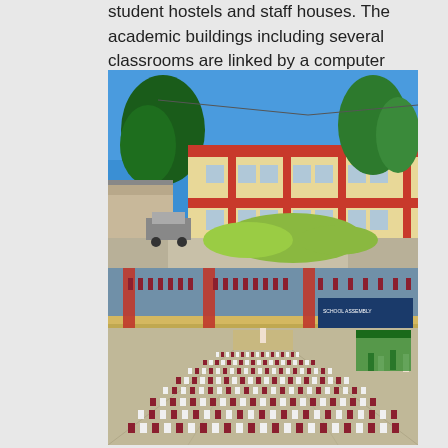student hostels and staff houses. The academic buildings including several classrooms are linked by a computer network.
[Figure (photo): Two stacked photographs of a school campus. Top photo shows a two-storey yellow school building with red trim and accents under a bright blue sky, with trees and a parked car visible. Bottom photo shows an aerial/elevated view of a large student assembly in an open courtyard, with students in maroon and white uniforms seated in rows, and a banner visible in the background.]